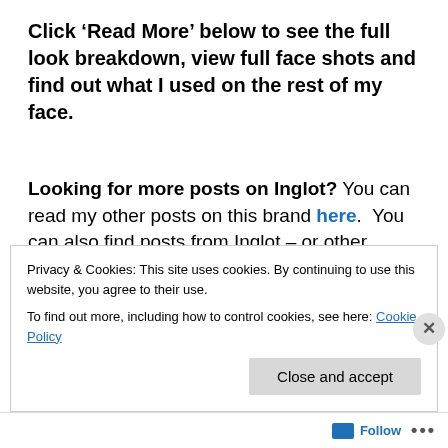Click 'Read More' below to see the full look breakdown, view full face shots and find out what I used on the rest of my face.
Looking for more posts on Inglot? You can read my other posts on this brand here.  You can also find posts from Inglot – or other brands – by going into Faves, Hauls & Brands/Brands on the menu bar.
Privacy & Cookies: This site uses cookies. By continuing to use this website, you agree to their use.
To find out more, including how to control cookies, see here: Cookie Policy
Follow ...